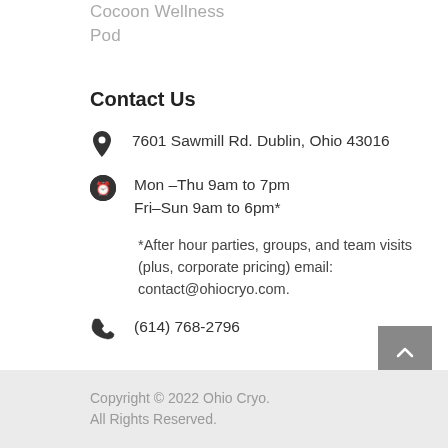Cocoon Wellness Pod
Contact Us
7601 Sawmill Rd. Dublin, Ohio 43016
Mon –Thu 9am to 7pm
Fri–Sun 9am to 6pm*
*After hour parties, groups, and team visits (plus, corporate pricing) email: contact@ohiocryo.com.
(614) 768-2796
Copyright © 2022 Ohio Cryo. All Rights Reserved.